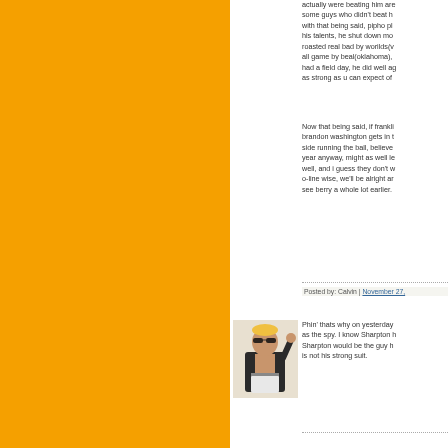[Figure (photo): Orange sidebar/background panel on the left side of the page]
actually were beating him are some guys who didn't beat h with that being said, pipho pl his talents, he shut down mo roasted real bad by worilds(v all game by beal(oklahoma), had a field day, he did well ag as strong as u can expect of
Now that being said, if frankli brandon washington gets in t side running the ball, believe year anyway, might as well le well, and i guess they don't w o-line wise, we'll be alright ar see berry a whole lot earlier.
Posted by: Calvin | November 27,
[Figure (photo): Avatar image of a person in sunglasses and vest, raising one hand]
Phin' thats why on yesterday as the spy. I know Sharpton h Sharpton would be the guy h is not his strong suit.